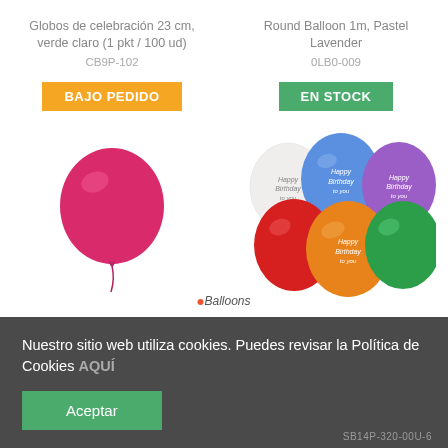Globos de celebración 23 cm, verde claro (1 pkt / 100 ud)
CB9P-102
Round Balloon 1m, Pastel Lavender
0LB0-009
BAJO PEDIDO
EN STOCK
[Figure (photo): Pink/magenta round balloon]
[Figure (photo): Group of Happy Birthday balloons in various colors: white, blue, purple, red, orange, green]
Nuestro sitio web utiliza cookies. Puedes revisar la Política de Cookies AQUÍ
Aceptar
SB14P-320-00U-6